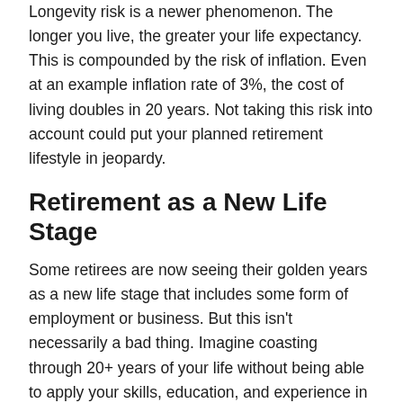Longevity risk is a newer phenomenon. The longer you live, the greater your life expectancy. This is compounded by the risk of inflation. Even at an example inflation rate of 3%, the cost of living doubles in 20 years. Not taking this risk into account could put your planned retirement lifestyle in jeopardy.
Retirement as a New Life Stage
Some retirees are now seeing their golden years as a new life stage that includes some form of employment or business. But this isn't necessarily a bad thing. Imagine coasting through 20+ years of your life without being able to apply your skills, education, and experience in a meaningful way. Difficult to picture, isn't it?
When you retire, you have the option to pursue the